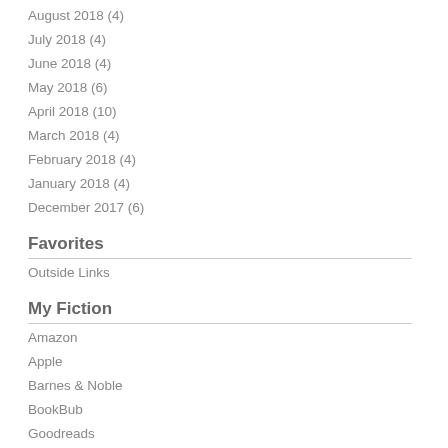August 2018 (4)
July 2018 (4)
June 2018 (4)
May 2018 (6)
April 2018 (10)
March 2018 (4)
February 2018 (4)
January 2018 (4)
December 2017 (6)
Favorites
Outside Links
My Fiction
Amazon
Apple
Barnes & Noble
BookBub
Goodreads
Hoopla
Kobo
Scribd